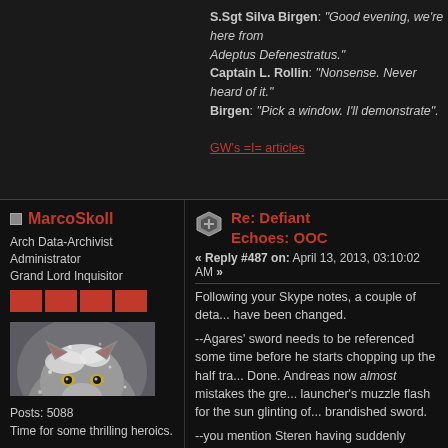S.Sgt Silva Birgen: "Good evening, we're here from Adeptus Defenestratus."
Captain L. Rollin: "Nonsense. Never heard of it."
Birgen: "Pick a window. I'll demonstrate".
GW's =I= articles
MarcoSkoll
Arch Data-Archivist
Administrator
Grand Lord Inquisitor
Posts: 5088
Time for some thrilling heroics.
Re: Defiant Echoes: OOC
« Reply #487 on: April 13, 2013, 03:10:02 AM »
Following your Skype notes, a couple of details have been changed.

--Agares' sword needs to be referenced some time before he starts chopping up the half tra... Done. Andreas now almost mistakes the gre... launcher's muzzle flash for the sun glinting of... brandished sword.

--you mention Steren having suddenly grown... claws, has she suddenly outgrown her boots'... Made clearer that the claws have punctured h... boots.

--At what point does Steren work out that Aga...